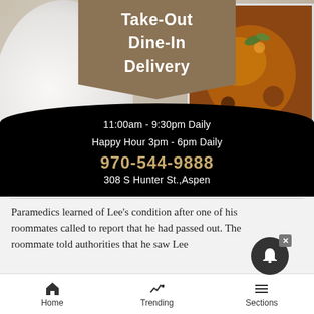[Figure (infographic): Restaurant advertisement banner showing food photos with a tan ribbon overlay listing Take-Out, Dine-In, Delivery services, and a black curved section with hours, phone, and address]
Take-Out
Dine-In
Delivery
11:00am - 9:30pm Daily
Happy Hour 3pm - 6pm Daily
970-544-9888
308 S Hunter St.,Aspen
Paramedics learned of Lee's condition after one of his roommates called to report that he had passed out. The roommate told authorities that he saw Lee
[Figure (other): Notification bell icon overlay with dark circle background and X close button]